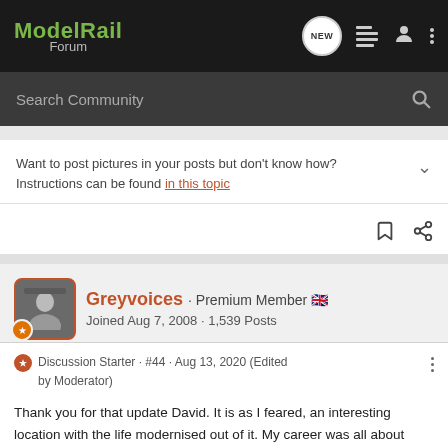ModelRail Forum
Search Community
Want to post pictures in your posts but don&#39;t know how? Instructions can be found in this topic
Greyvoices · Premium Member 🇬🇧
Joined Aug 7, 2008 · 1,539 Posts
Discussion Starter · #44 · Aug 13, 2020 (Edited by Moderator)
Thank you for that update David. It is as I feared, an interesting location with the life modernised out of it. My career was all about making railways ever more efficient and cost effective but with each passing year our railways became ever more bland.